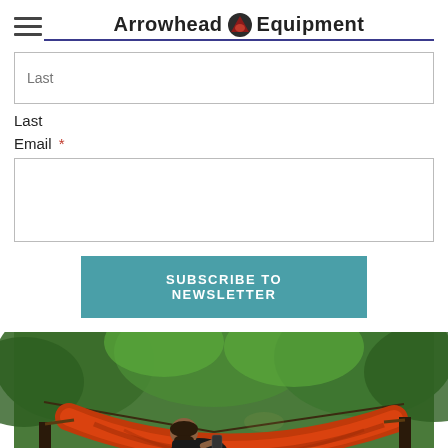Arrowhead Equipment
Last
Last
Email *
[Figure (photo): Person relaxing in an orange/red hammock strung between trees in a lush green forest, reading a book or phone.]